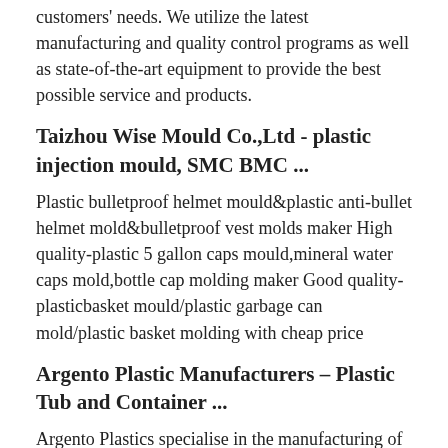customers' needs. We utilize the latest manufacturing and quality control programs as well as state-of-the-art equipment to provide the best possible service and products.
Taizhou Wise Mould Co.,Ltd - plastic injection mould, SMC BMC ...
Plastic bulletproof helmet mould&plastic anti-bullet helmet mold&bulletproof vest molds maker High quality-plastic 5 gallon caps mould,mineral water caps mold,bottle cap molding maker Good quality-plasticbasket mould/plastic garbage can mold/plastic basket molding with cheap price
Argento Plastic Manufacturers – Plastic Tub and Container ...
Argento Plastics specialise in the manufacturing of precision injection moulded plastic products. Our thin walled, tamper proof plastic tubs are manufactured in